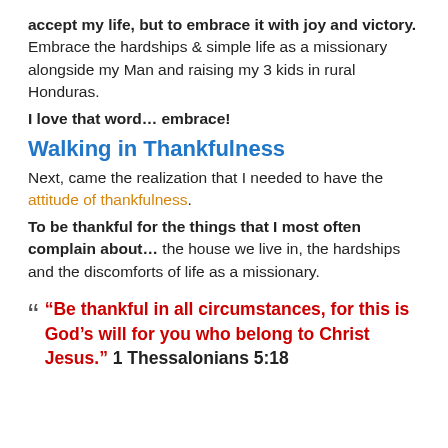accept my life, but to embrace it with joy and victory. Embrace the hardships & simple life as a missionary alongside my Man and raising my 3 kids in rural Honduras.
I love that word… embrace!
Walking in Thankfulness
Next, came the realization that I needed to have the attitude of thankfulness.
To be thankful for the things that I most often complain about… the house we live in, the hardships and the discomforts of life as a missionary.
“Be thankful in all circumstances, for this is God’s will for you who belong to Christ Jesus.” 1 Thessalonians 5:18